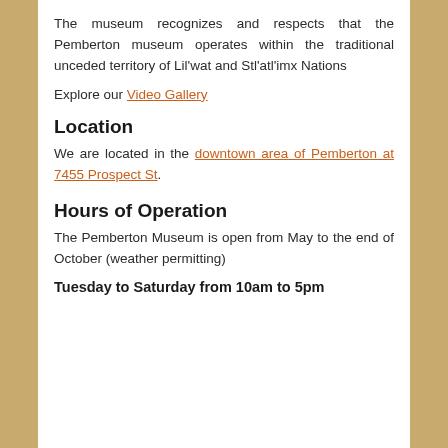The museum recognizes and respects that the Pemberton museum operates within the traditional unceded territory of Lil'wat and Stl'atl'imx Nations
Explore our Video Gallery
Location
We are located in the downtown area of Pemberton at 7455 Prospect St.
Hours of Operation
The Pemberton Museum is open from May to the end of October (weather permitting)
Tuesday to Saturday from 10am to 5pm